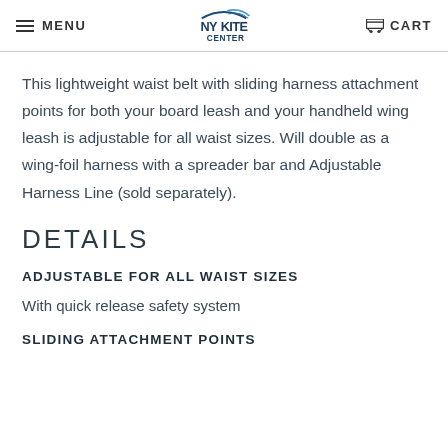MENU | NY KITE CENTER | CONTROL | CART
This lightweight waist belt with sliding harness attachment points for both your board leash and your handheld wing leash is adjustable for all waist sizes. Will double as a wing-foil harness with a spreader bar and Adjustable Harness Line (sold separately).
DETAILS
ADJUSTABLE FOR ALL WAIST SIZES
With quick release safety system
SLIDING ATTACHMENT POINTS